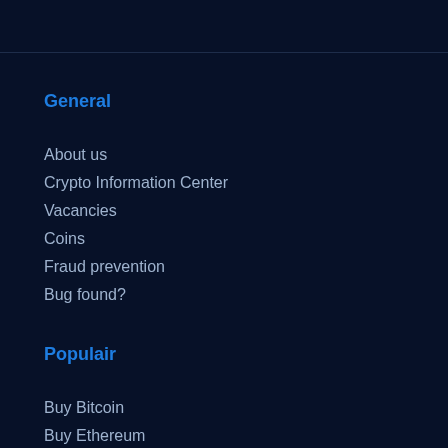General
About us
Crypto Information Center
Vacancies
Coins
Fraud prevention
Bug found?
Populair
Buy Bitcoin
Buy Ethereum
Buy Ripple